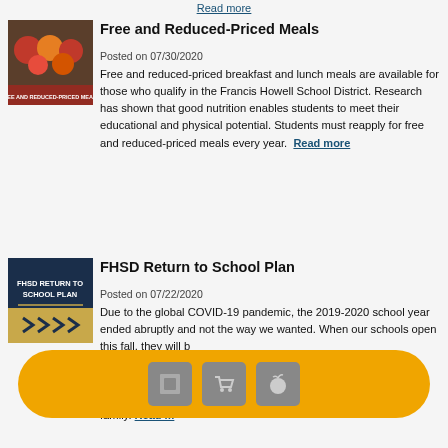Read more
[Figure (photo): Photo of food items on a cafeteria line with text overlay 'FREE AND REDUCED-PRICED MEALS']
Free and Reduced-Priced Meals
Posted on 07/30/2020
Free and reduced-priced breakfast and lunch meals are available for those who qualify in the Francis Howell School District. Research has shown that good nutrition enables students to meet their educational and physical potential. Students must reapply for free and reduced-priced meals every year.
Read more
[Figure (illustration): Dark blue and gold graphic with text 'FHSD RETURN TO SCHOOL PLAN' and arrow chevrons]
FHSD Return to School Plan
Posted on 07/22/2020
Due to the global COVID-19 pandemic, the 2019-2020 school year ended abruptly and not the way we wanted. When our schools open this fall, they will b... developed a Return to School Plan that respects and honors the individual needs of each family.
[Figure (other): Cookie consent banner overlay with yellow/gold pill-shaped background and icons for settings, cart, and apple]